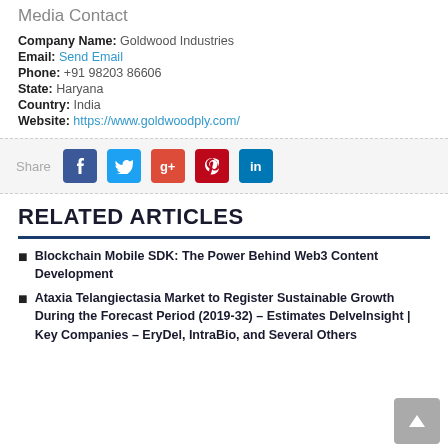Media Contact
Company Name: Goldwood Industries
Email: Send Email
Phone: +91 98203 86606
State: Haryana
Country: India
Website: https://www.goldwoodply.com/
[Figure (infographic): Social share bar with Facebook, Twitter, Google+, Pinterest, and LinkedIn icons]
RELATED ARTICLES
Blockchain Mobile SDK: The Power Behind Web3 Content Development
Ataxia Telangiectasia Market to Register Sustainable Growth During the Forecast Period (2019-32) – Estimates DelveInsight | Key Companies – EryDel, IntraBio, and Several Others